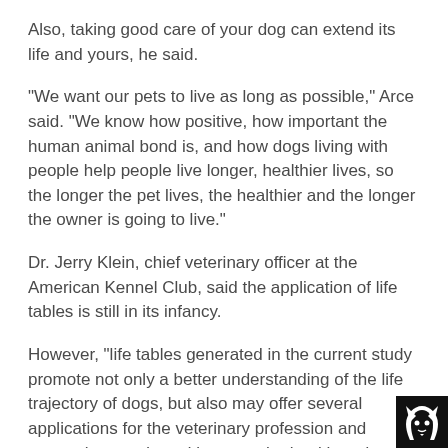Also, taking good care of your dog can extend its life and yours, he said.
"We want our pets to live as long as possible," Arce said. "We know how positive, how important the human animal bond is, and how dogs living with people help people live longer, healthier lives, so the longer the pet lives, the healthier and the longer the owner is going to live."
Dr. Jerry Klein, chief veterinary officer at the American Kennel Club, said the application of life tables is still in its infancy.
However, "life tables generated in the current study promote not only a better understanding of the life trajectory of dogs, but also may offer several applications for the veterinary profession and research to study and improve the health and welfare of dogs," Klein said.
Here are some of Arce's and Klein's recommendations for
[Figure (logo): White wolf/dog head logo on black background in bottom right corner]